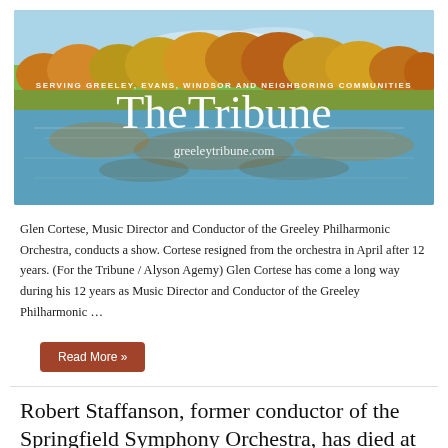[Figure (photo): The Tribune newspaper banner/logo with scenic autumn lake and trees background. Text reads: SERVING GREELEY, EVANS, WINDSOR AND NEIGHBORING COMMUNITIES, TheTribune, greeleytribune.com]
Glen Cortese, Music Director and Conductor of the Greeley Philharmonic Orchestra, conducts a show. Cortese resigned from the orchestra in April after 12 years. (For the Tribune / Alyson Agemy) Glen Cortese has come a long way during his 12 years as Music Director and Conductor of the Greeley Philharmonic …
Read More »
Robert Staffanson, former conductor of the Springfield Symphony Orchestra, has died at 9